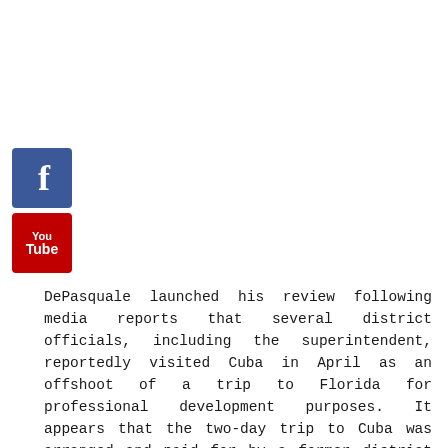[Figure (logo): Facebook social media icon - blue square with white letter f]
[Figure (logo): YouTube social media icon - red square with You Tube text]
DePasquale launched his review following media reports that several district officials, including the superintendent, reportedly visited Cuba in April as an offshoot of a trip to Florida for professional development purposes. It appears that the two-day trip to Cuba was arranged and paid for by a former district contractor, The Flying Classroom, and was not approved in advance by the school board.